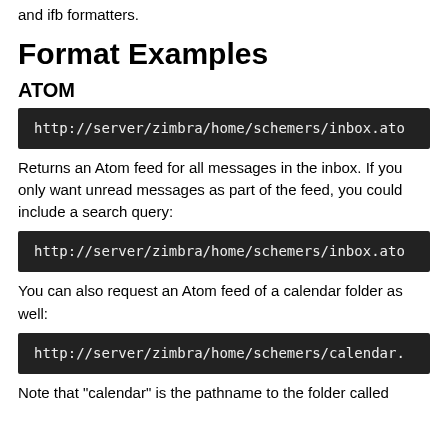and ifb formatters.
Format Examples
ATOM
http://server/zimbra/home/schemers/inbox.ato
Returns an Atom feed for all messages in the inbox. If you only want unread messages as part of the feed, you could include a search query:
http://server/zimbra/home/schemers/inbox.ato
You can also request an Atom feed of a calendar folder as well:
http://server/zimbra/home/schemers/calendar.
Note that "calendar" is the pathname to the folder called